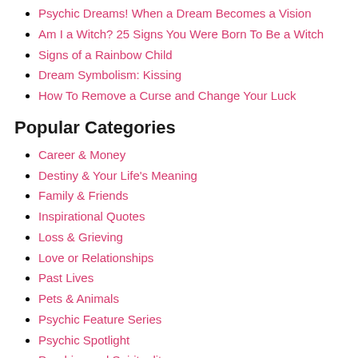Psychic Dreams! When a Dream Becomes a Vision
Am I a Witch? 25 Signs You Were Born To Be a Witch
Signs of a Rainbow Child
Dream Symbolism: Kissing
How To Remove a Curse and Change Your Luck
Popular Categories
Career & Money
Destiny & Your Life's Meaning
Family & Friends
Inspirational Quotes
Loss & Grieving
Love or Relationships
Past Lives
Pets & Animals
Psychic Feature Series
Psychic Spotlight
Psychics and Spirituality